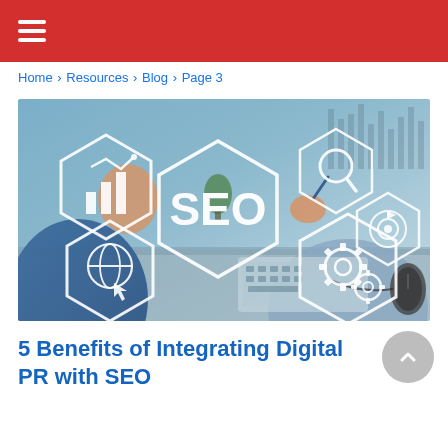≡ (hamburger menu)
Home › Resources › Blog › Page 3
[Figure (photo): Business professionals working at a desk with SEO-related hexagonal icons overlaid, including chart/analytics icon, search/magnifier icon, globe/cursor icon, gear/settings icons, target icon, and large central SEO text label.]
5 Benefits of Integrating Digital PR with SEO